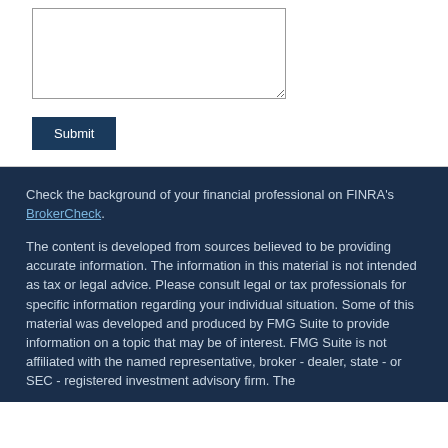[Figure (other): A text area input box for user comment/message entry]
Submit
Check the background of your financial professional on FINRA's BrokerCheck.
The content is developed from sources believed to be providing accurate information. The information in this material is not intended as tax or legal advice. Please consult legal or tax professionals for specific information regarding your individual situation. Some of this material was developed and produced by FMG Suite to provide information on a topic that may be of interest. FMG Suite is not affiliated with the named representative, broker - dealer, state - or SEC - registered investment advisory firm. The